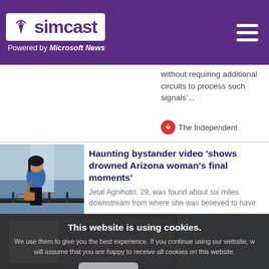[Figure (logo): Simcast logo with tower icon, purple background, 'Powered by Microsoft News' text below]
without requiring additional circuits to process such signals'...
The Independent
Haunting bystander video 'shows drowned Arizona woman's final moments'
Jetal Agnihotri, 29, was found about six miles downstream from where she was believed to have
This website is using cookies. We use them to give you the best experience. If you continue using our website, we will assume that you are happy to receive all cookies on this website.
Continue
Learn more
[Figure (screenshot): Laptop or tablet screen showing colorful dashboard with calendar and charts]